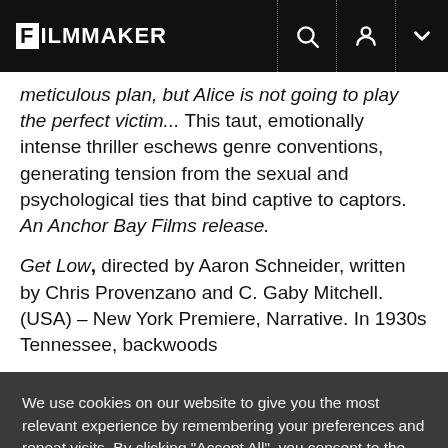FILMMAKER
meticulous plan, but Alice is not going to play the perfect victim... This taut, emotionally intense thriller eschews genre conventions, generating tension from the sexual and psychological ties that bind captive to captors. An Anchor Bay Films release.
Get Low, directed by Aaron Schneider, written by Chris Provenzano and C. Gaby Mitchell. (USA) – New York Premiere, Narrative. In 1930s Tennessee, backwoods
We use cookies on our website to give you the most relevant experience by remembering your preferences and repeat visits. By clicking "Accept All", you consent to the use of ALL the cookies. However, you may visit "Cookie Settings" to provide a controlled consent.
Cookie Settings
Accept All